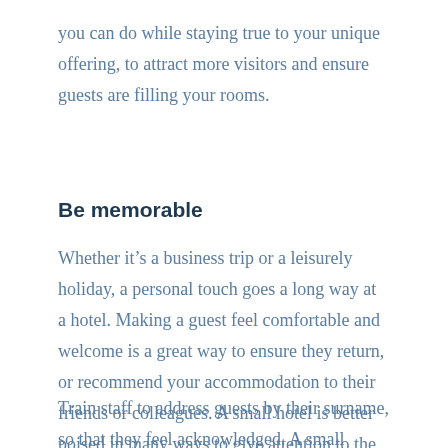you can do while staying true to your unique offering, to attract more visitors and ensure guests are filling your rooms.
Be memorable
Whether it’s a business trip or a leisurely holiday, a personal touch goes a long way at a hotel. Making a guest feel comfortable and welcome is a great way to ensure they return, or recommend your accommodation to their friends or colleagues. A small hotel is better poised in many ways to give attention to the small details, so take advantage of it!
Train staff to address guests by their surname, so that they feel acknowledged. A small